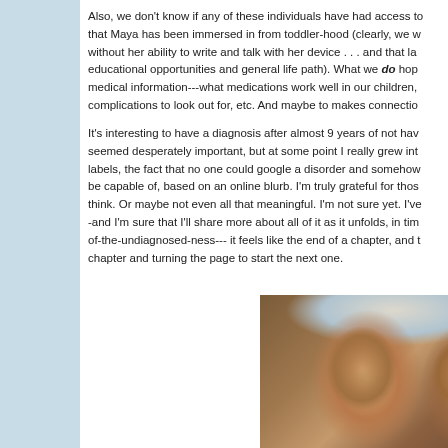Also, we don't know if any of these individuals have had access to that Maya has been immersed in from toddler-hood (clearly, we w without her ability to write and talk with her device . . . and that la educational opportunities and general life path). What we do hop medical information---what medications work well in our children, complications to look out for, etc. And maybe to makes connectio
It's interesting to have a diagnosis after almost 9 years of not hav seemed desperately important, but at some point I really grew int labels, the fact that no one could google a disorder and somehow be capable of, based on an online blurb. I'm truly grateful for thos think. Or maybe not even all that meaningful. I'm not sure yet. I've -and I'm sure that I'll share more about all of it as it unfolds, in tim of-the-undiagnosed-ness--- it feels like the end of a chapter, and t chapter and turning the page to start the next one.
[Figure (photo): Photograph of two children, appearing to be siblings, in an indoor setting with colorful decorations visible in the background.]